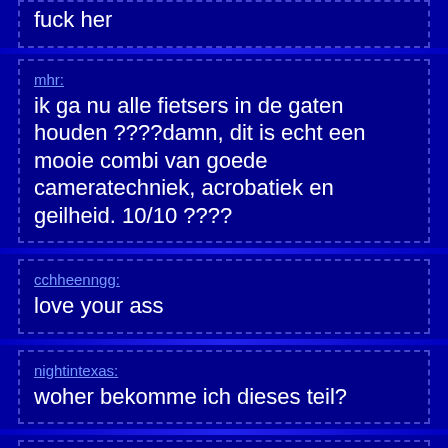fuck her
mhr: ik ga nu alle fietsers in de gaten houden ????damn, dit is echt een mooie combi van goede cameratechniek, acrobatiek en geilheid. 10/10 ????
cchheenngg: love your ass
nightintexas: woher bekomme ich dieses teil?
samson13: